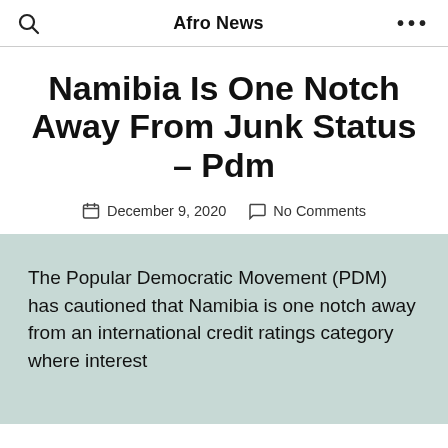Afro News
Namibia Is One Notch Away From Junk Status – Pdm
December 9, 2020   No Comments
The Popular Democratic Movement (PDM) has cautioned that Namibia is one notch away from an international credit ratings category where interest